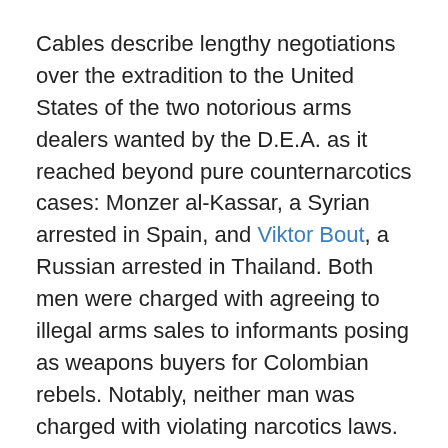Cables describe lengthy negotiations over the extradition to the United States of the two notorious arms dealers wanted by the D.E.A. as it reached beyond pure counternarcotics cases: Monzer al-Kassar, a Syrian arrested in Spain, and Viktor Bout, a Russian arrested in Thailand. Both men were charged with agreeing to illegal arms sales to informants posing as weapons buyers for Colombian rebels. Notably, neither man was charged with violating narcotics laws.
Late last year in a D.E.A. case, three men from Mali accused of plotting to transport tons of cocaine across northwest Africa were charged under a narco-terrorism statute added to the law in 2006, and they were linked to both Al Qaeda and its North African affiliate, called Al Qaeda in the Islamic Maghreb.